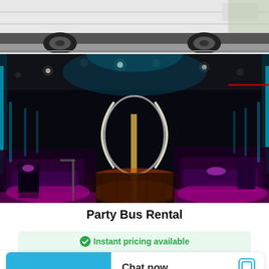[Figure (photo): Partial view of a white party bus exterior from rear angle, showing wheels and lower body against a parking lot background]
[Figure (photo): Interior of a party bus with colorful LED lighting — cyan, magenta/purple, and orange/red glow — showing black leather seating, a dance pole, and reflective flooring in a dark luxurious cabin]
Party Bus Rental
Instant pricing available
Chat now